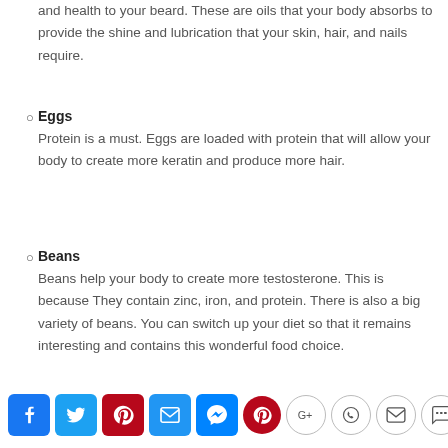and health to your beard. These are oils that your body absorbs to provide the shine and lubrication that your skin, hair, and nails require.
Eggs
Protein is a must. Eggs are loaded with protein that will allow your body to create more keratin and produce more hair.
Beans
Beans help your body to create more testosterone. This is because They contain zinc, iron, and protein. There is also a big variety of beans. You can switch up your diet so that it remains interesting and contains this wonderful food choice.
[Figure (other): Social media share buttons: Facebook, Twitter, Pinterest, Email, Messenger, Pinterest, Google+, WhatsApp, Email, SMS]